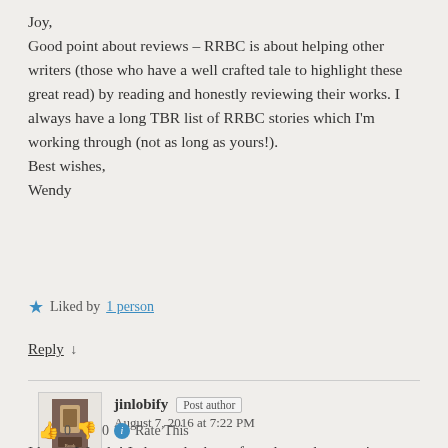Joy,
Good point about reviews – RRBC is about helping other writers (those who have a well crafted tale to highlight these great read) by reading and honestly reviewing their works. I always have a long TBR list of RRBC stories which I'm working through (not as long as yours!).
Best wishes,
Wendy
Liked by 1 person
Reply ↓
jinlobify Post author
August 7, 2016 at 7:22 PM
👍 0 👎 0 ℹ Rate This
I know Wendy! I always look out for sales and promotions, and don't